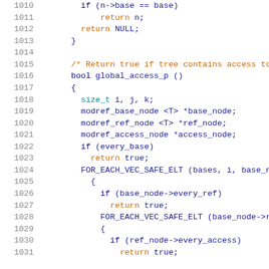Code listing lines 1010-1031, C++ source code showing function global_access_p with nested FOR_EACH_VEC_SAFE_ELT loops